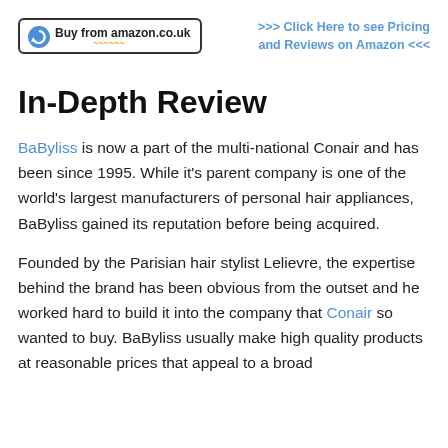[Figure (logo): Buy from amazon.co.uk badge with circular arrow icon]
>>> Click Here to see Pricing and Reviews on Amazon <<<
In-Depth Review
BaByliss is now a part of the multi-national Conair and has been since 1995. While it's parent company is one of the world's largest manufacturers of personal hair appliances, BaByliss gained its reputation before being acquired.
Founded by the Parisian hair stylist Lelievre, the expertise behind the brand has been obvious from the outset and he worked hard to build it into the company that Conair so wanted to buy. BaByliss usually make high quality products at reasonable prices that appeal to a broad